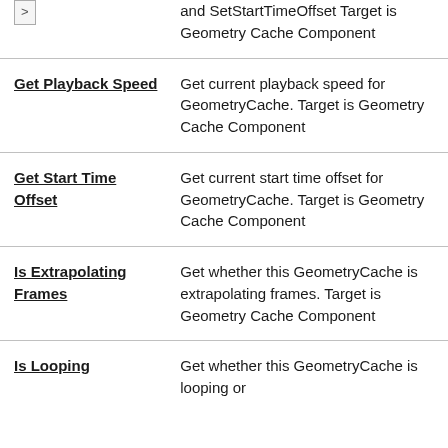| Name | Description |
| --- | --- |
| (nav) and SetStartTimeOffset | Target is Geometry Cache Component |
| Get Playback Speed | Get current playback speed for GeometryCache. Target is Geometry Cache Component |
| Get Start Time Offset | Get current start time offset for GeometryCache. Target is Geometry Cache Component |
| Is Extrapolating Frames | Get whether this GeometryCache is extrapolating frames. Target is Geometry Cache Component |
| Is Looping | Get whether this GeometryCache is looping or |